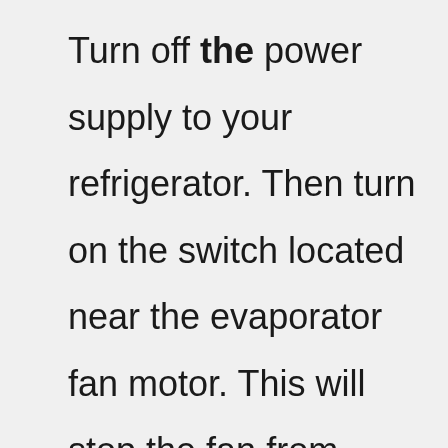Turn off the power supply to your refrigerator. Then turn on the switch located near the evaporator fan motor. This will stop the fan from operating. 2. Compressor Motor Answer: Unplug the unit from the wall outlet. Remove the screws holding the compressor